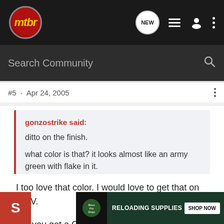[Figure (screenshot): MTBR community forum website header with dark nav bar showing mtbr logo, NEW badge, list icon, user icon, and dots menu]
Search Community
#5 · Apr 24, 2005
gonzostrike said:
ditto on the finish.

what color is that? it looks almost like an army green with flake in it.
I too love that color. I would love to get that on my V.

Did you get a GI Joe with Kung-Fu grip with that?
[Figure (screenshot): Bass Pro Shops advertisement banner for Reloading Supplies with Shop Now button]